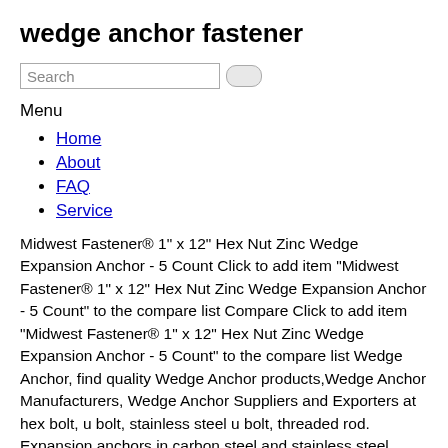wedge anchor fastener
Search
Menu
Home
About
FAQ
Service
Midwest Fastener® 1" x 12" Hex Nut Zinc Wedge Expansion Anchor - 5 Count Click to add item "Midwest Fastener® 1" x 12" Hex Nut Zinc Wedge Expansion Anchor - 5 Count" to the compare list Compare Click to add item "Midwest Fastener® 1" x 12" Hex Nut Zinc Wedge Expansion Anchor - 5 Count" to the compare list Wedge Anchor, find quality Wedge Anchor products,Wedge Anchor Manufacturers, Wedge Anchor Suppliers and Exporters at hex bolt, u bolt, stainless steel u bolt, threaded rod. Expansion anchors in carbon steel and stainless steel, approved for cracked concrete, ... Ultimate-performance removable heavy-duty wedge anchor with approvals for fire, seismic and cracked concrete (A4 stainless steel, countersunk) Material, corrosion: Stainless steel, A4: These products are designed and manufactured in line with the